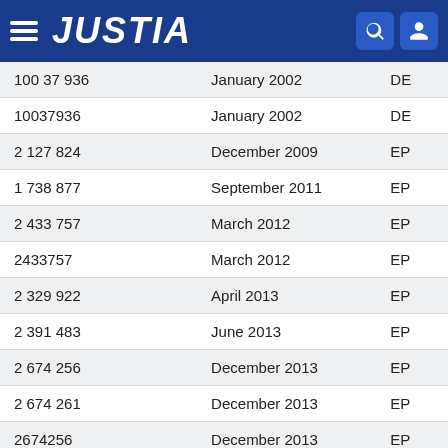JUSTIA
| Number | Date | Code |
| --- | --- | --- |
| 100 37 936 | January 2002 | DE |
| 10037936 | January 2002 | DE |
| 2 127 824 | December 2009 | EP |
| 1 738 877 | September 2011 | EP |
| 2 433 757 | March 2012 | EP |
| 2433757 | March 2012 | EP |
| 2 329 922 | April 2013 | EP |
| 2 391 483 | June 2013 | EP |
| 2 674 256 | December 2013 | EP |
| 2 674 261 | December 2013 | EP |
| 2674256 | December 2013 | EP |
| 2674261 | December 2013 | EP |
| 2 656 485 | May 2015 | EP |